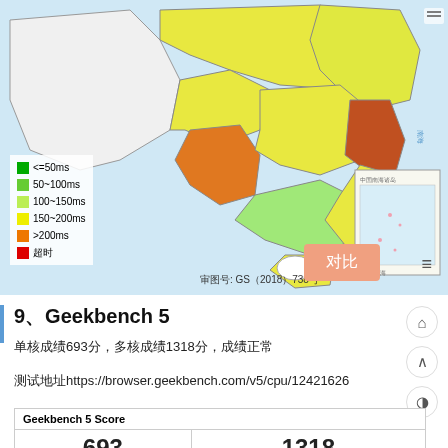[Figure (map): Map of China showing network latency by region, colored by response time: green (<=50ms), light green (50-100ms), yellow-green (100-150ms), yellow (150-200ms), orange (>200ms), red (timeout). Includes legend and small inset map. Map credit: 审图号: GS（2018）738号]
审图号: GS（2018）738号
9、Geekbench 5
单核成绩693分，多核成绩1318分，成绩正常
测试地址https://browser.geekbench.com/v5/cpu/12421626
| Geekbench 5 Score |
| --- |
| 693 | 1318 |